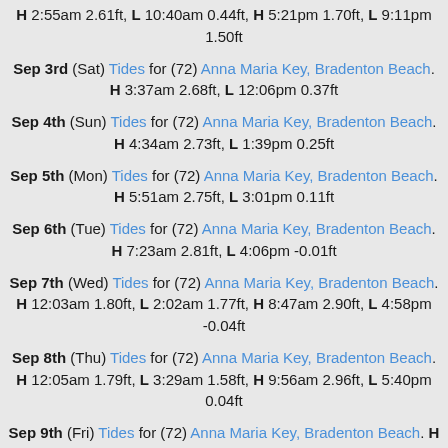H 2:55am 2.61ft, L 10:40am 0.44ft, H 5:21pm 1.70ft, L 9:11pm 1.50ft
Sep 3rd (Sat) Tides for (72) Anna Maria Key, Bradenton Beach. H 3:37am 2.68ft, L 12:06pm 0.37ft
Sep 4th (Sun) Tides for (72) Anna Maria Key, Bradenton Beach. H 4:34am 2.73ft, L 1:39pm 0.25ft
Sep 5th (Mon) Tides for (72) Anna Maria Key, Bradenton Beach. H 5:51am 2.75ft, L 3:01pm 0.11ft
Sep 6th (Tue) Tides for (72) Anna Maria Key, Bradenton Beach. H 7:23am 2.81ft, L 4:06pm -0.01ft
Sep 7th (Wed) Tides for (72) Anna Maria Key, Bradenton Beach. H 12:03am 1.80ft, L 2:02am 1.77ft, H 8:47am 2.90ft, L 4:58pm -0.04ft
Sep 8th (Thu) Tides for (72) Anna Maria Key, Bradenton Beach. H 12:05am 1.79ft, L 3:29am 1.58ft, H 9:56am 2.96ft, L 5:40pm 0.04ft
Sep 9th (Fri) Tides for (72) Anna Maria Key, Bradenton Beach. H 12:14am 1.81ft, L 4:32am 1.33ft, H 10:55am 2.95ft, L